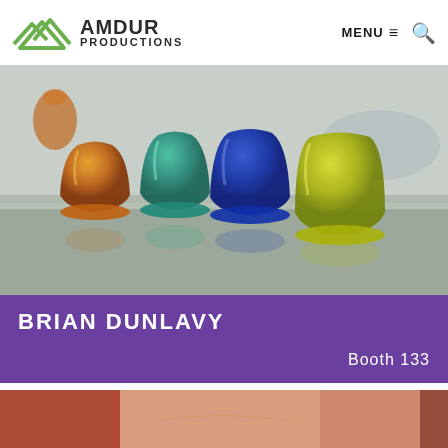AMDUR PRODUCTIONS — MENU | Search
[Figure (photo): Four colorful glass tumblers lined up on a grey surface outdoors — amber/orange, teal, cobalt blue, and yellow-green. Background shows an outdoor patio or pool area.]
BRIAN DUNLAVY
Booth 133
[Figure (photo): Partial view of a woman with red hair wearing a thin chain necklace, cropped showing neck and upper chest area with warm skin tones.]